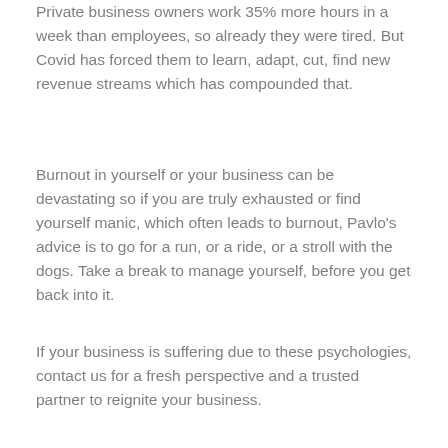Private business owners work 35% more hours in a week than employees, so already they were tired. But Covid has forced them to learn, adapt, cut, find new revenue streams which has compounded that.
Burnout in yourself or your business can be devastating so if you are truly exhausted or find yourself manic, which often leads to burnout, Pavlo’s advice is to go for a run, or a ride, or a stroll with the dogs. Take a break to manage yourself, before you get back into it.
If your business is suffering due to these psychologies, contact us for a fresh perspective and a trusted partner to reignite your business.